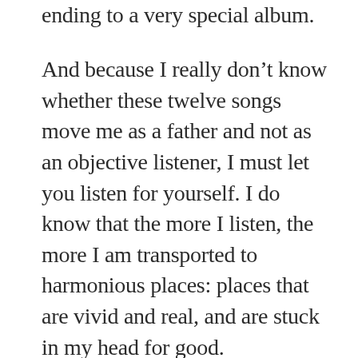ending to a very special album.
And because I really don’t know whether these twelve songs move me as a father and not as an objective listener, I must let you listen for yourself. I do know that the more I listen, the more I am transported to harmonious places: places that are vivid and real, and are stuck in my head for good.